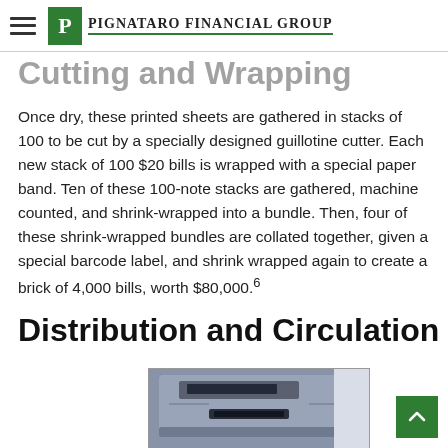Pignataro Financial Group
Cutting and Wrapping
Once dry, these printed sheets are gathered in stacks of 100 to be cut by a specially designed guillotine cutter. Each new stack of 100 $20 bills is wrapped with a special paper band. Ten of these 100-note stacks are gathered, machine counted, and shrink-wrapped into a bundle. Then, four of these shrink-wrapped bundles are collated together, given a special barcode label, and shrink wrapped again to create a brick of 4,000 bills, worth $80,000.⁶
Distribution and Circulation
[Figure (photo): Partial image of an ATM or currency counting machine, dark blue/grey device with a card/bill slot visible]